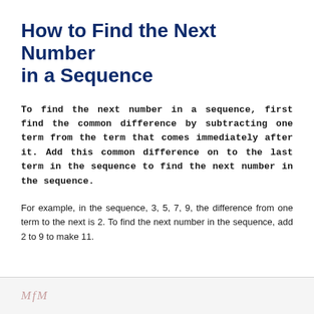How to Find the Next Number in a Sequence
To find the next number in a sequence, first find the common difference by subtracting one term from the term that comes immediately after it. Add this common difference on to the last term in the sequence to find the next number in the sequence.
For example, in the sequence, 3, 5, 7, 9, the difference from one term to the next is 2. To find the next number in the sequence, add 2 to 9 to make 11.
MfM